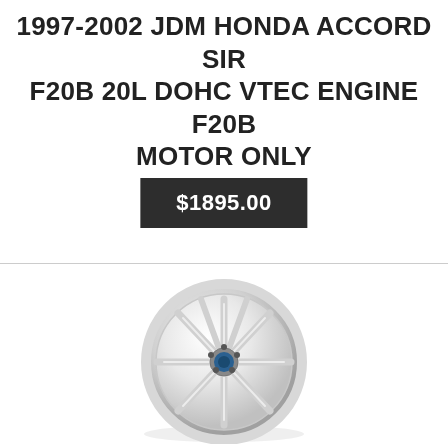1997-2002 JDM HONDA ACCORD SIR F20B 20L DOHC VTEC ENGINE F20B MOTOR ONLY
$1895.00
[Figure (photo): A silver multi-spoke alloy wheel with chrome lip and a blue center cap, photographed on a white background.]